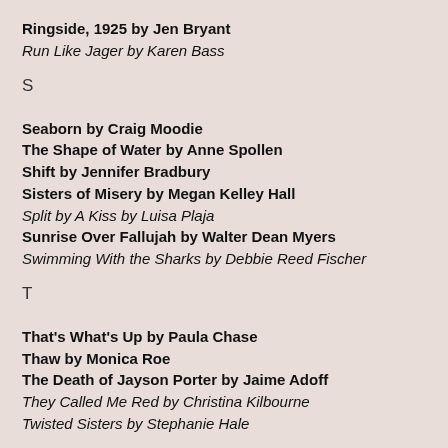Ringside, 1925 by Jen Bryant
Run Like Jager by Karen Bass
S
Seaborn by Craig Moodie
The Shape of Water by Anne Spollen
Shift by Jennifer Bradbury
Sisters of Misery by Megan Kelley Hall
Split by A Kiss by Luisa Plaja
Sunrise Over Fallujah by Walter Dean Myers
Swimming With the Sharks by Debbie Reed Fischer
T
That's What's Up by Paula Chase
Thaw by Monica Roe
The Death of Jayson Porter by Jaime Adoff
They Called Me Red by Christina Kilbourne
Twisted Sisters by Stephanie Hale